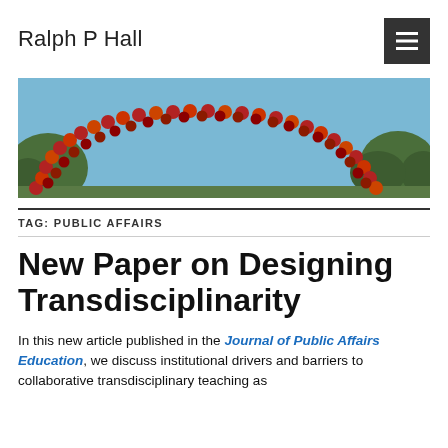Ralph P Hall
[Figure (photo): A banner/header image showing an arch made of red and orange balloons against a blue sky with trees in the background.]
TAG: PUBLIC AFFAIRS
New Paper on Designing Transdisciplinarity
In this new article published in the Journal of Public Affairs Education, we discuss institutional drivers and barriers to collaborative transdisciplinary teaching as